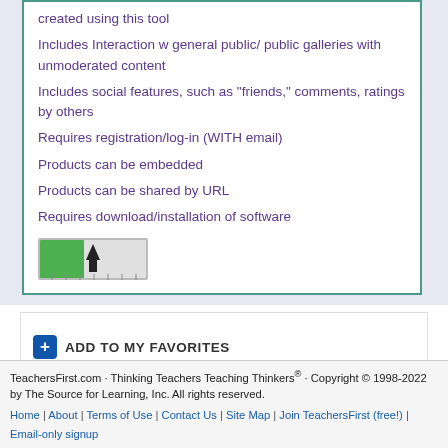created using this tool
Includes Interaction w general public/ public galleries with unmoderated content
Includes social features, such as "friends," comments, ratings by others
Requires registration/log-in (WITH email)
Products can be embedded
Products can be shared by URL
Requires download/installation of software
[Figure (other): A green ruler/meter bar icon with an upward arrow in the center, representing a measurement or rating tool]
ADD TO MY FAVORITES
TeachersFirst.com · Thinking Teachers Teaching Thinkers® · Copyright © 1998-2022 by The Source for Learning, Inc. All rights reserved.
Home | About | Terms of Use | Contact Us | Site Map | Join TeachersFirst (free!) | Email-only signup